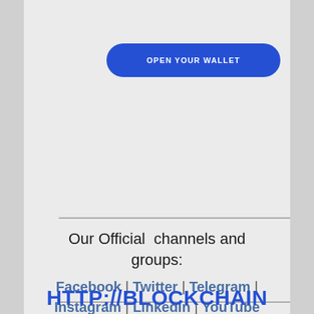[Figure (other): Blue rounded rectangle button with text OPEN YOUR WALLET in white uppercase letters]
Our Official  channels and groups:
Facebook  |  Twitter |  Telegram  |  Instagram  |  LinkedIn |  YouTube
HTTP://BLOCKCHAII...